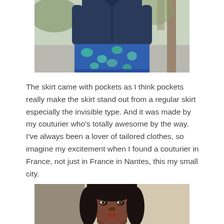[Figure (photo): Top portion of a person wearing a navy blue long-sleeve button-up shirt and a blue/green floral/print skirt, outdoors in a park setting]
The skirt came with pockets as I think pockets really make the skirt stand out from a regular skirt especially the invisible type. And it was made by my couturier who's totally awesome by the way. I've always been a lover of tailored clothes, so imagine my excitement when I found a couturier in France, not just in France in Nantes, this my small city.
[Figure (photo): Portrait of a woman with dark hair and bangs, facing the camera outdoors with a light beige wall behind her]